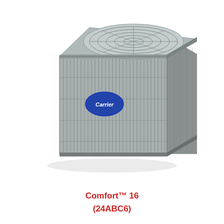[Figure (photo): Carrier Comfort 16 (24ABC6) air conditioning condensing unit — a large square outdoor HVAC unit with gray metallic louvered/grille sides, a rounded square top with fan grille, and a blue oval Carrier logo badge on the front panel.]
Comfort™ 16
(24ABC6)